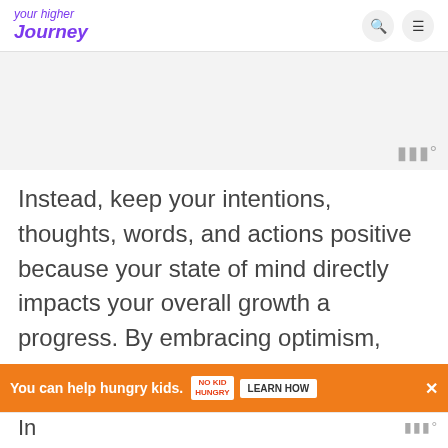your higher journey
[Figure (other): Gray placeholder image area with waveform/audio icon in bottom-right corner]
Instead, keep your intentions, thoughts, words, and actions positive because your state of mind directly impacts your overall growth and progress. By embracing optimism, your goals and desires will start to manifest.
[Figure (other): Orange advertisement banner: 'You can help hungry kids.' with No Kid Hungry logo and LEARN HOW button]
In ... you to he... ... mp...